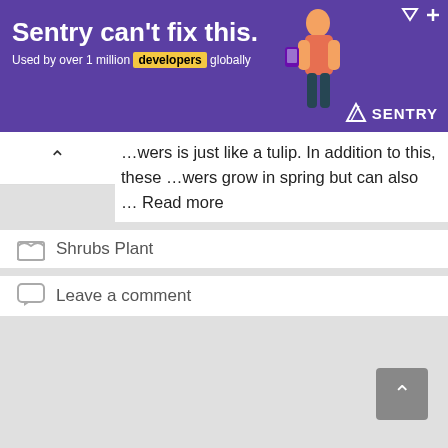[Figure (photo): Sentry advertisement banner with purple background. Headline: 'Sentry can't fix this.' Subtext: 'Used by over 1 million developers globally'. Sentry logo on right. Illustration of person with phone on right side.]
…wers is just like a tulip. In addition to this, these …wers grow in spring but can also … Read more
Shrubs Plant
Leave a comment